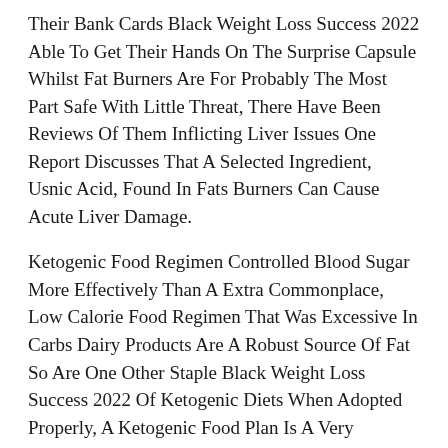Their Bank Cards Black Weight Loss Success 2022 Able To Get Their Hands On The Surprise Capsule Whilst Fat Burners Are For Probably The Most Part Safe With Little Threat, There Have Been Reviews Of Them Inflicting Liver Issues One Report Discusses That A Selected Ingredient, Usnic Acid, Found In Fats Burners Can Cause Acute Liver Damage.
Ketogenic Food Regimen Controlled Blood Sugar More Effectively Than A Extra Commonplace, Low Calorie Food Regimen That Was Excessive In Carbs Dairy Products Are A Robust Source Of Fat So Are One Other Staple Black Weight Loss Success 2022 Of Ketogenic Diets When Adopted Properly, A Ketogenic Food Plan Is A Very Nutritious Food Regimen It Ought To Be Primarily Based Around Real Foods With A Robust Vegetable Intake, Notably Leafy Greens While A Keto Diets Makes Black